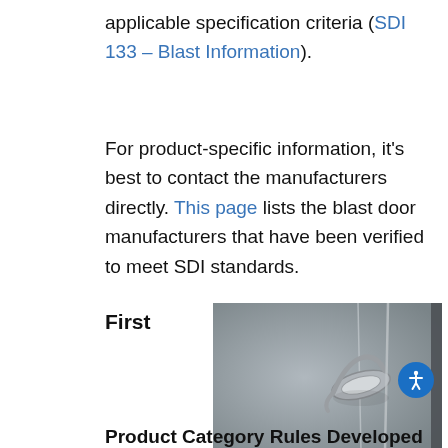applicable specification criteria (SDI 133 – Blast Information).
For product-specific information, it's best to contact the manufacturers directly. This page lists the blast door manufacturers that have been verified to meet SDI standards.
First
[Figure (photo): Close-up photograph of a metal blast door latch/handle mechanism in silver/grey tones]
Product Category Rules Developed